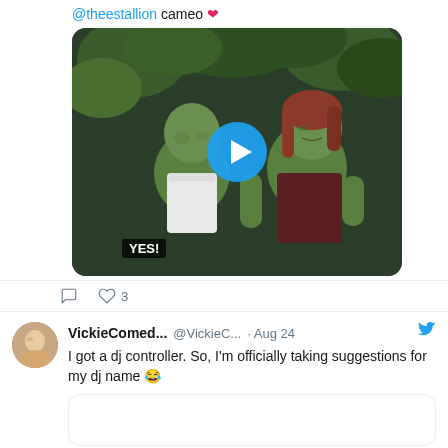@theestallion cameo ❤️
[Figure (screenshot): Video thumbnail showing two green-skinned superhero characters (She-Hulk characters) in a jungle setting with a blue play button overlay and 'YES!' subtitle]
♡ 3
VickieComed... @VickieC... · Aug 24
I got a dj controller. So, I'm officially taking suggestions for my dj name 😂